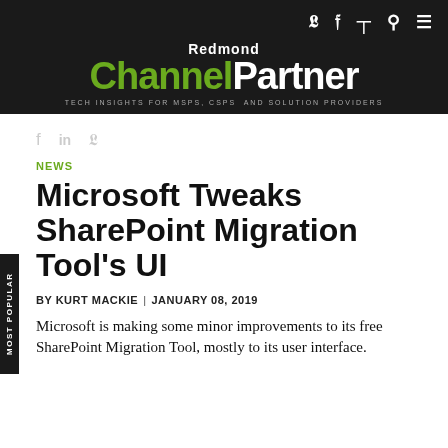Redmond Channel Partner — TECH INSIGHTS FOR MSPS, CSPS AND SOLUTION PROVIDERS
NEWS
Microsoft Tweaks SharePoint Migration Tool's UI
BY KURT MACKIE  |  JANUARY 08, 2019
Microsoft is making some minor improvements to its free SharePoint Migration Tool, mostly to its user interface.